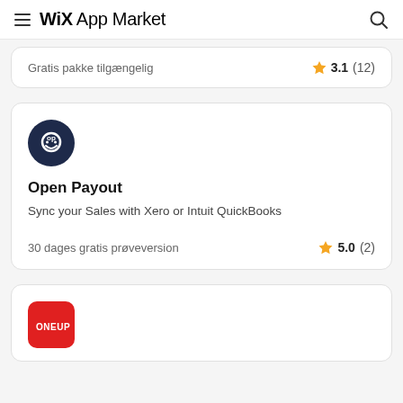WiX App Market
Gratis pakke tilgængelig
3.1 (12)
[Figure (logo): Open Payout app icon: dark navy circle with 'op' smiley face logo]
Open Payout
Sync your Sales with Xero or Intuit QuickBooks
30 dages gratis prøveversion
5.0 (2)
[Figure (logo): OneUp app icon: red square with rounded corners, white ONEUP text]